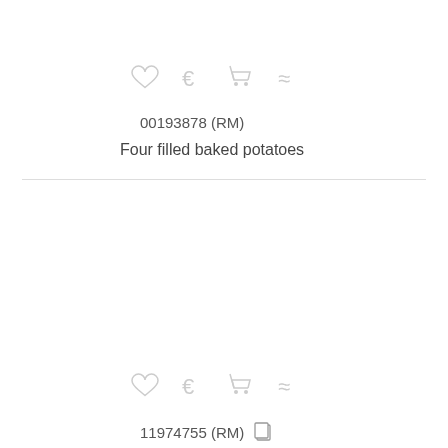[Figure (illustration): Row of four icons (heart, euro sign, shopping cart, approximately-equals symbol) in light gray]
00193878 (RM)
Four filled baked potatoes
[Figure (illustration): Row of four icons (heart, euro sign, shopping cart, approximately-equals symbol) in light gray]
11974755 (RM)
Baked sweet potatoes with chilli mince